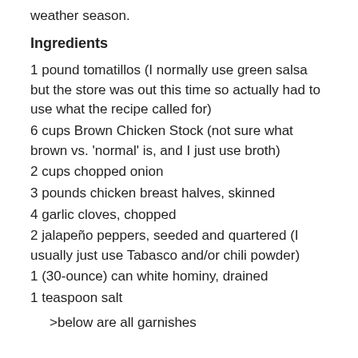weather season.
Ingredients
1 pound tomatillos (I normally use green salsa but the store was out this time so actually had to use what the recipe called for)
6 cups Brown Chicken Stock (not sure what brown vs. 'normal' is, and I just use broth)
2 cups chopped onion
3 pounds chicken breast halves, skinned
4 garlic cloves, chopped
2 jalapeño peppers, seeded and quartered (I usually just use Tabasco and/or chili powder)
1 (30-ounce) can white hominy, drained
1 teaspoon salt
>below are all garnishes